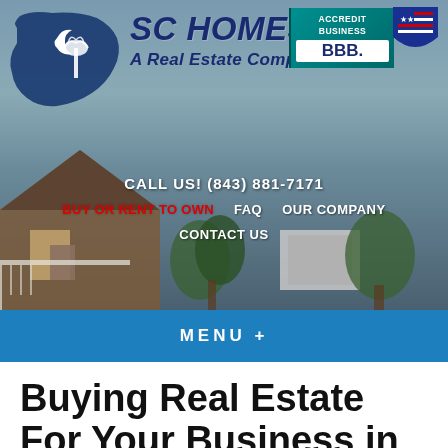[Figure (logo): SC Homes Inc website header with South Carolina state shape logo, company name 'SC HOMES, INC. A Real Estate Company', BBB Accredited Business badge, US flag badge, house photo background]
CALL US! (843) 881-7171
BUY OR RENT TO OWN
FAQ
OUR COMPANY
CONTACT US
MENU +
Buying Real Estate For Your Business in Charleston